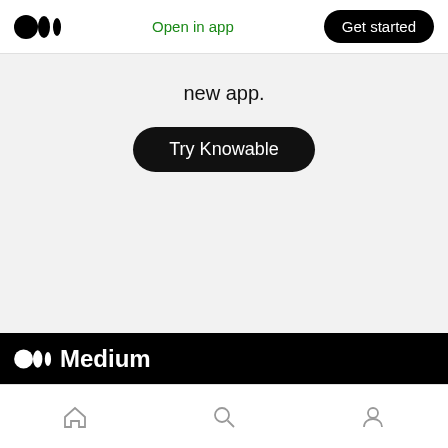Medium logo | Open in app | Get started
new app.
Try Knowable
[Figure (logo): Medium logo with wordmark on black footer band]
Home | Search | Profile icons